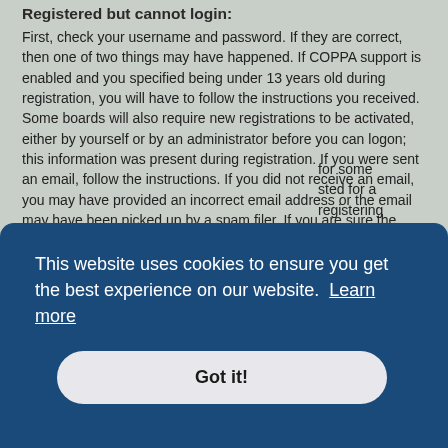Registered but cannot login:
First, check your username and password. If they are correct, then one of two things may have happened. If COPPA support is enabled and you specified being under 13 years old during registration, you will have to follow the instructions you received. Some boards will also require new registrations to be activated, either by yourself or by an administrator before you can logon; this information was present during registration. If you were sent an email, follow the instructions. If you did not receive an email, you may have provided an incorrect email address or the email may have been picked up by a spam filer. If you are sure the email address you provided is correct, try contacting an administrator.
Top
Why can't I login?
There are several reasons why this could occur. First, ensure your username and password are correct. If they are, contact a board administrator to make sure you haven't been banned. It is also possible the website owner has a
for some ... sted for a ... registering again and being more involved in discussions.
This website uses cookies to ensure you get the best experience on our website. Learn more
Got it!